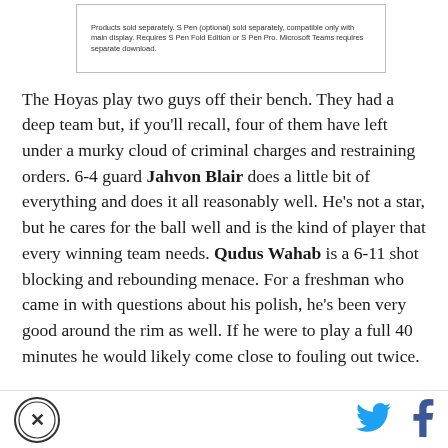[Figure (other): Advertisement box with fine print text about products sold separately, S Pen optional, Microsoft Teams requires separate download.]
The Hoyas play two guys off their bench. They had a deep team but, if you'll recall, four of them have left under a murky cloud of criminal charges and restraining orders. 6-4 guard Jahvon Blair does a little bit of everything and does it all reasonably well. He's not a star, but he cares for the ball well and is the kind of player that every winning team needs. Qudus Wahab is a 6-11 shot blocking and rebounding menace. For a freshman who came in with questions about his polish, he's been very good around the rim as well. If he were to play a full 40 minutes he would likely come close to fouling out twice.
[Figure (logo): Site logo circular emblem with stylized X in center]
[Figure (logo): Twitter bird icon in blue]
[Figure (logo): Facebook f icon in dark blue]